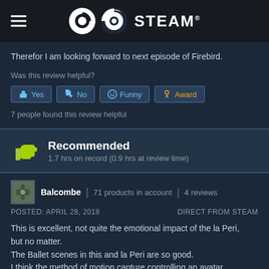STEAM
Therefor I am looking forward to next episode of Firebird.
Was this review helpful?
Yes | No | Funny | Award
7 people found this review helpful
Recommended
1.7 hrs on record (0.9 hrs at review time)
Balcombe | 71 products in account | 4 reviews
POSTED: APRIL 28, 2018   DIRECT FROM STEAM
This is excellent, not quite the emotional impact of the la Peri, but no matter.
The Ballet scenes in this and la Peri are so good.
I think the method of motion capture controlling an avatar